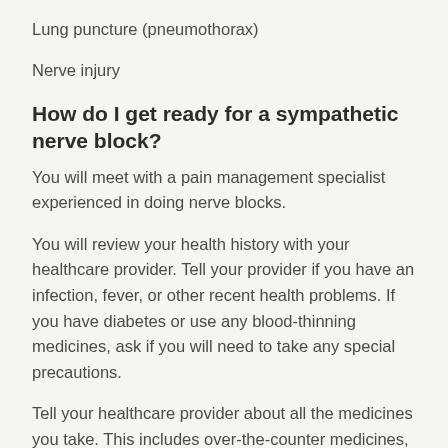Lung puncture (pneumothorax)
Nerve injury
How do I get ready for a sympathetic nerve block?
You will meet with a pain management specialist experienced in doing nerve blocks.
You will review your health history with your healthcare provider. Tell your provider if you have an infection, fever, or other recent health problems. If you have diabetes or use any blood-thinning medicines, ask if you will need to take any special precautions.
Tell your healthcare provider about all the medicines you take. This includes over-the-counter medicines, herbs, vitamins, and other supplements. You may